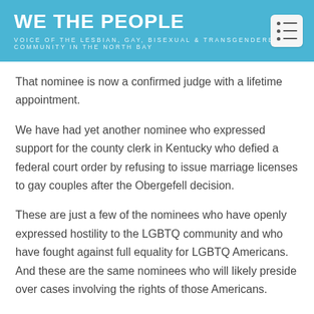WE THE PEOPLE
VOICE OF THE LESBIAN, GAY, BISEXUAL & TRANSGENDERED COMMUNITY IN THE NORTH BAY
That nominee is now a confirmed judge with a lifetime appointment.
We have had yet another nominee who expressed support for the county clerk in Kentucky who defied a federal court order by refusing to issue marriage licenses to gay couples after the Obergefell decision.
These are just a few of the nominees who have openly expressed hostility to the LGBTQ community and who have fought against full equality for LGBTQ Americans. And these are the same nominees who will likely preside over cases involving the rights of those Americans.
And it is a sad truth that showing hostility toward the